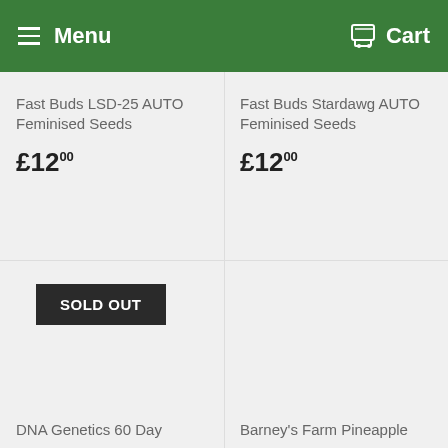Menu  Cart
Fast Buds LSD-25 AUTO Feminised Seeds
£12.00
Fast Buds Stardawg AUTO Feminised Seeds
£12.00
SOLD OUT
DNA Genetics 60 Day
Barney's Farm Pineapple